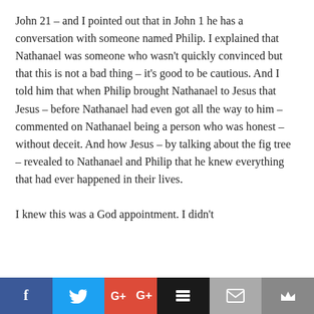John 21 – and I pointed out that in John 1 he has a conversation with someone named Philip. I explained that Nathanael was someone who wasn't quickly convinced but that this is not a bad thing – it's good to be cautious. And I told him that when Philip brought Nathanael to Jesus that Jesus – before Nathanael had even got all the way to him – commented on Nathanael being a person who was honest – without deceit. And how Jesus – by talking about the fig tree – revealed to Nathanael and Philip that he knew everything that had ever happened in their lives.

I knew this was a God appointment. I didn't
Social share bar: Facebook, Twitter, Google+, Buffer, Email, Crown